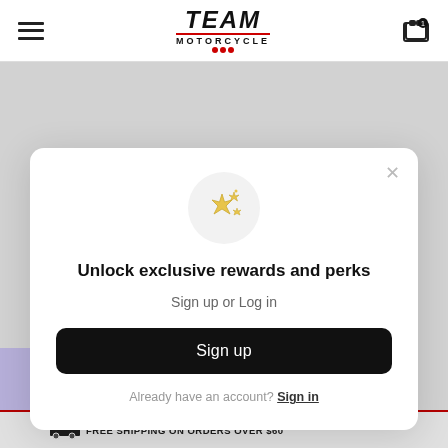Team Motorcycle — navigation header with hamburger menu and cart icon
[Figure (screenshot): Team Motorcycle website screenshot with modal popup overlay]
Unlock exclusive rewards and perks
Sign up or Log in
Sign up
Already have an account? Sign in
FREE SHIPPING ON ORDERS OVER $60